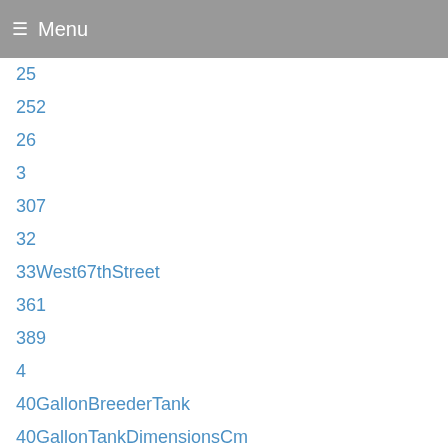Menu
25
252
26
3
307
32
33West67thStreet
361
389
4
40GallonBreederTank
40GallonTankDimensionsCm
43
439
4640
482066
5